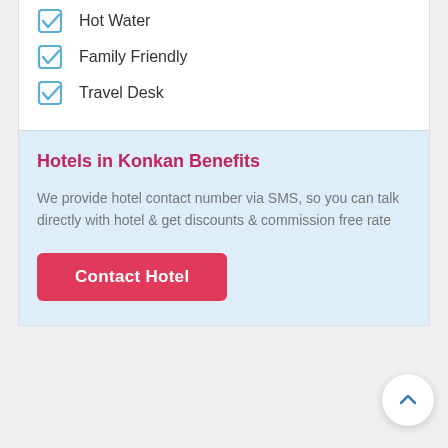Hot Water
Family Friendly
Travel Desk
Hotels in Konkan Benefits
We provide hotel contact number via SMS, so you can talk directly with hotel & get discounts & commission free rate
Contact Hotel